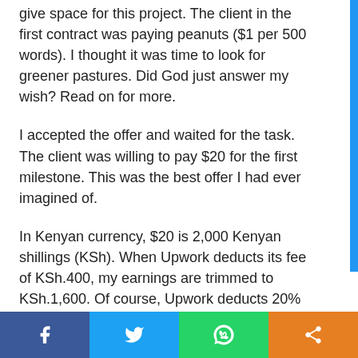give space for this project. The client in the first contract was paying peanuts ($1 per 500 words). I thought it was time to look for greener pastures. Did God just answer my wish? Read on for more.
I accepted the offer and waited for the task. The client was willing to pay $20 for the first milestone. This was the best offer I had ever imagined of.
In Kenyan currency, $20 is 2,000 Kenyan shillings (KSh). When Upwork deducts its fee of KSh.400, my earnings are trimmed to KSh.1,600. Of course, Upwork deducts 20% of my pay and the fee reduces depending on how much I earn from a client. I didn't care – at least I would have some KSh.1,600 in my kitty. After all, a Kenyan tout takes home roughly KSh.1,500 per day. So, if I was able
Social share bar: Facebook, Twitter, WhatsApp, Share